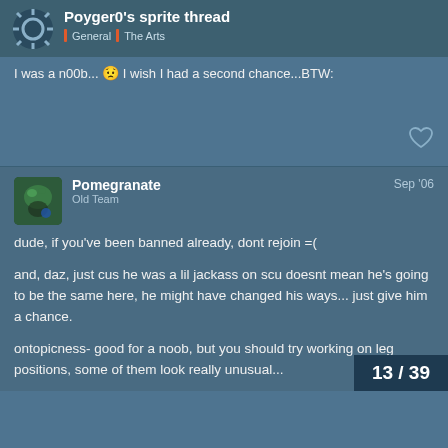Poyger0's sprite thread | General | The Arts
I was a n00b... 😟 I wish I had a second chance...BTW:
Pomegranate
Old Team
Sep '06
dude, if you've been banned already, dont rejoin =(

and, daz, just cus he was a lil jackass on scu doesnt mean he's going to be the same here, he might have changed his ways... just give him a chance.

ontopicness- good for a noob, but you should try working on leg positions, some of them look really unusual...
13 / 39